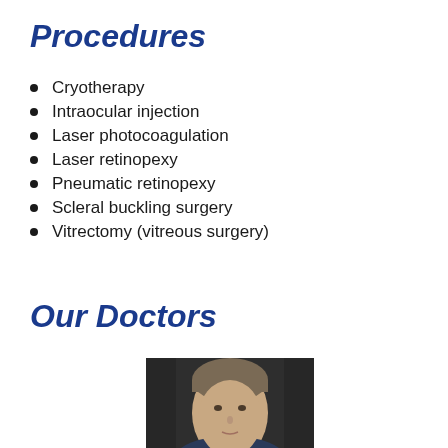Procedures
Cryotherapy
Intraocular injection
Laser photocoagulation
Laser retinopexy
Pneumatic retinopexy
Scleral buckling surgery
Vitrectomy (vitreous surgery)
Our Doctors
[Figure (photo): Portrait photo of a doctor, male, with short brown/grey hair, photographed against a dark background, shown from the shoulders up.]